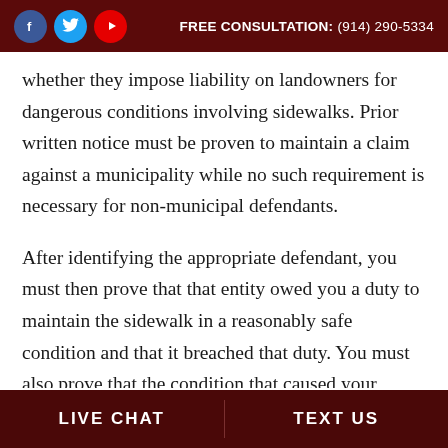FREE CONSULTATION: (914) 290-5334
whether they impose liability on landowners for dangerous conditions involving sidewalks. Prior written notice must be proven to maintain a claim against a municipality while no such requirement is necessary for non-municipal defendants.
After identifying the appropriate defendant, you must then prove that that entity owed you a duty to maintain the sidewalk in a reasonably safe condition and that it breached that duty. You must also prove that the condition that caused your accident was actionable - in other words that it was not trivial in nature, and that the entity knew or should
LIVE CHAT   TEXT US